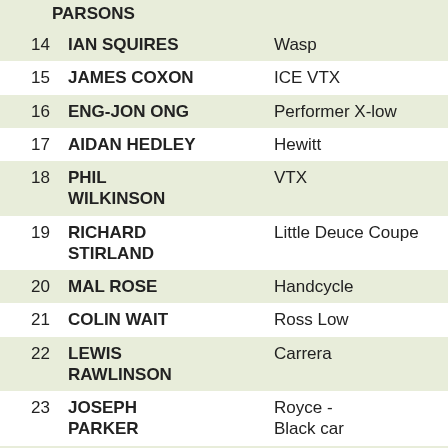| # | Name | Vehicle | Points |
| --- | --- | --- | --- |
| 14 | IAN SQUIRES | Wasp | 1000 |
| 15 | JAMES COXON | ICE VTX | 900 |
| 16 | ENG-JON ONG | Performer X-low | 900 |
| 17 | AIDAN HEDLEY | Hewitt | 864 |
| 18 | PHIL WILKINSON | VTX | 819 |
| 19 | RICHARD STIRLAND | Little Deuce Coupe | 810 |
| 20 | MAL ROSE | Handcycle | 770 |
| 21 | COLIN WAIT | Ross Low | 677 |
| 22 | LEWIS RAWLINSON | Carrera | 658 |
| 23 | JOSEPH PARKER | Royce - Black car | 631 |
| 24 | NIGEL SLEE | Jester | 592 |
| 25 | STEVEN MARSH | Carbonbike handcycle | 562 |
| 26 | JAMES SUCKLING | Bamboo Bike | 535 |
| 27 | ALAN |  |  |